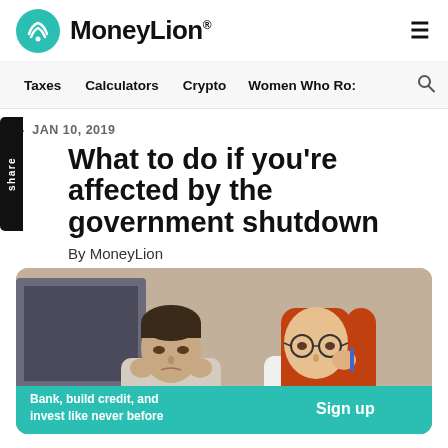MoneyLion
Taxes   Calculators   Crypto   Women Who Ro:
» JAN 10, 2019
What to do if you're affected by the government shutdown
By MoneyLion
[Figure (photo): A man and a woman sitting together looking stressed, both with hands near their heads, looking down at something off-screen.]
Bank, build credit, and invest like never before
Sign up